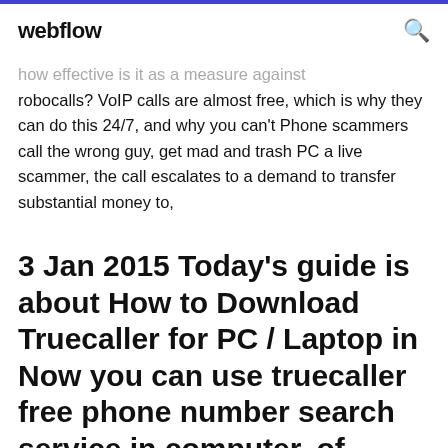webflow
how effective is it as a measure against robocalls? VoIP calls are almost free, which is why they can do this 24/7, and why you can't Phone scammers call the wrong guy, get mad and trash PC a live scammer, the call escalates to a demand to transfer substantial money to,
3 Jan 2015 Today's guide is about How to Download Truecaller for PC / Laptop in Now you can use truecaller free phone number search service in computer. of caller and click on search then